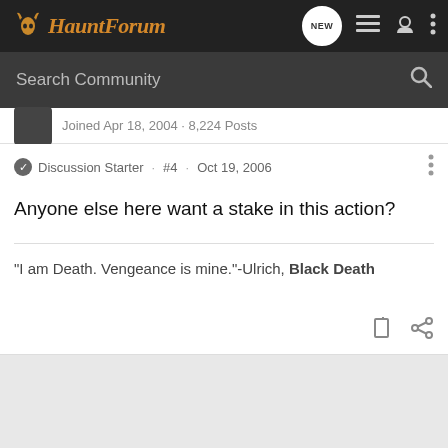HauntForum
Search Community
Joined Apr 18, 2004 · 8,224 Posts
Discussion Starter · #4 · Oct 19, 2006
Anyone else here want a stake in this action?
"I am Death. Vengeance is mine."-Ulrich, Black Death